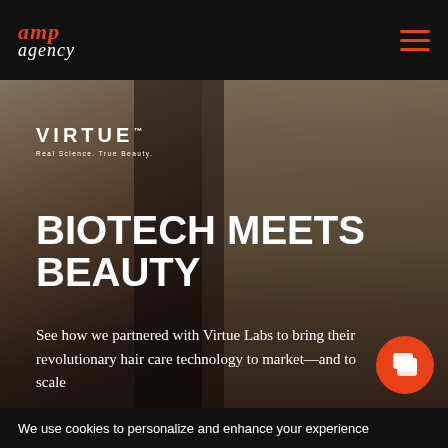amp agency
[Figure (photo): Two women with natural curly hair laughing together against a neutral background. Hero image for Virtue Labs hair care campaign by AMP Agency.]
VIRTUE™ — Real Science. True Beauty.
BIOTECH MEETS BEAUTY
See how we partnered with Virtue Labs to bring their revolutionary hair care technology to market—and to scale
We use cookies to personalize and enhance your experience